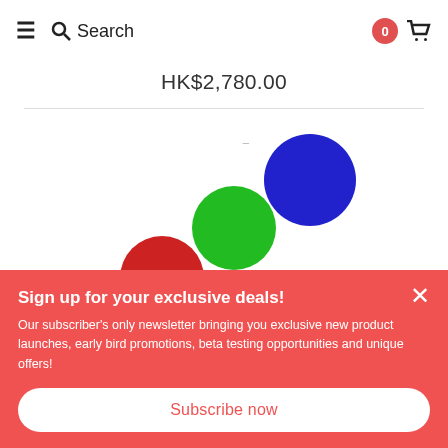≡ 🔍 Search  0 🛒
HK$2,780.00
[Figure (other): Three colored circles (loading indicator): blue circle top-right, green circle middle, red circle bottom-left, arranged diagonally on white background]
Sign up for your exclusive deals!
Our subscriber's only newsletter bringing you exclusive new product launches, early bird promotions, beta testing opportunities and unique offers!
Subscribe now